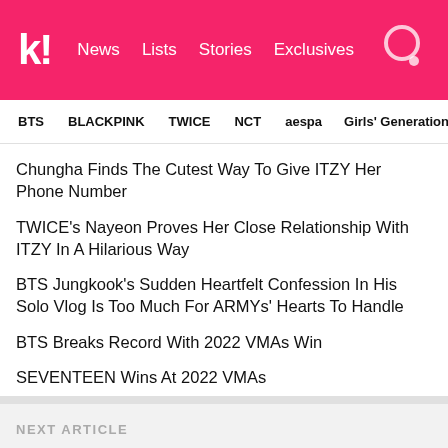koreaboo — News | Lists | Stories | Exclusives
BTS | BLACKPINK | TWICE | NCT | aespa | Girls' Generation
Chungha Finds The Cutest Way To Give ITZY Her Phone Number
TWICE's Nayeon Proves Her Close Relationship With ITZY In A Hilarious Way
BTS Jungkook's Sudden Heartfelt Confession In His Solo Vlog Is Too Much For ARMYs' Hearts To Handle
BTS Breaks Record With 2022 VMAs Win
SEVENTEEN Wins At 2022 VMAs
NEXT ARTICLE
Billboard Music Experts Reveal